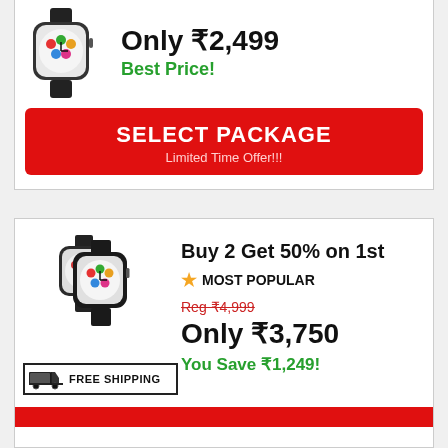[Figure (photo): Single Apple Watch with black band, viewed at angle]
Only ₹2,499
Best Price!
SELECT PACKAGE
Limited Time Offer!!!
Buy 2 Get 50% on 1st
★ MOST POPULAR
[Figure (photo): Two Apple Watches with black bands, viewed at angle]
Reg ₹4,999
Only ₹3,750
You Save ₹1,249!
[Figure (illustration): Free Shipping icon with truck]
FREE SHIPPING